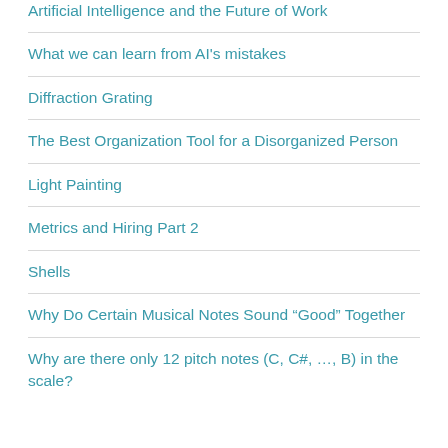Artificial Intelligence and the Future of Work
What we can learn from AI's mistakes
Diffraction Grating
The Best Organization Tool for a Disorganized Person
Light Painting
Metrics and Hiring Part 2
Shells
Why Do Certain Musical Notes Sound “Good” Together
Why are there only 12 pitch notes (C, C#, …, B) in the scale?